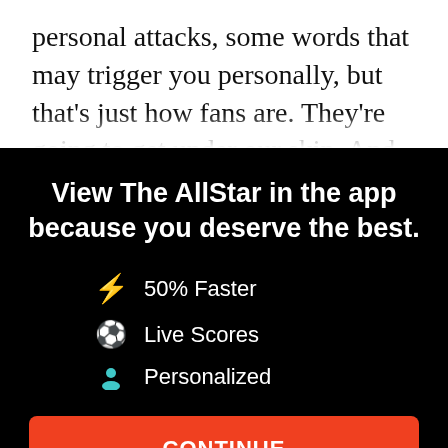personal attacks, some words that may trigger you personally, but that's just how fans are. They're going to get under our skin. And
View The AllStar in the app because you deserve the best.
⚡ 50% Faster
⚽ Live Scores
👤 Personalized
CONTINUE
or go to the mobile site